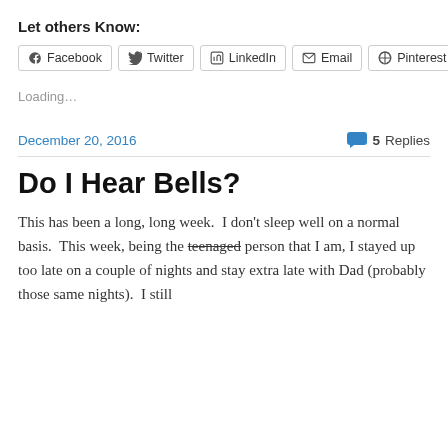Let others Know:
[Figure (other): Social share buttons: Facebook, Twitter, LinkedIn, Email, Pinterest]
Loading…
December 20, 2016    💬 5 Replies
Do I Hear Bells?
This has been a long, long week.  I don't sleep well on a normal basis.  This week, being the teenaged person that I am, I stayed up too late on a couple of nights and stay extra late with Dad (probably those same nights).  I still